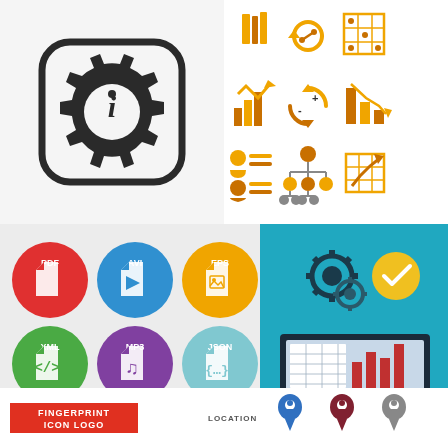[Figure (illustration): Large gear/settings icon with letter i in center, black on white background, rounded square border]
[Figure (illustration): Three info/gear icon variants in colored rounded square buttons: teal, yellow/orange, and red/coral colors]
[Figure (illustration): Grid of 9 business/data analytics icons in orange and brown: books, refresh chart, dot grid, bar chart up, circular arrows with plus/minus, declining bar chart, person with list, org chart hierarchy, grid with arrow up-right]
[Figure (illustration): Grid of 9 file type icons as colored circles: red PDF, blue AVI video, orange EPS image, green XML/code, purple MP3 music, light blue JSON brackets, blue JPG image, dark blue PNG/QR, teal TXT document]
[Figure (illustration): Teal background spreadsheet vector illustration showing laptop with bar chart and grid on screen, gears and checkmark circle above, text SPREADSHEET VECTOR ILLUSTRATION below]
[Figure (illustration): Fingerprint Icon Logo text in red bold letters on white background, bottom left]
[Figure (illustration): LOCATION label with three location pin icons in blue, dark red/maroon, and gray colors, bottom right]